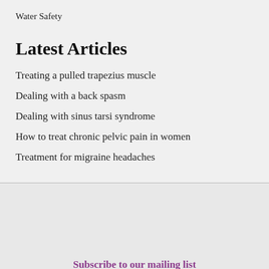Water Safety
Latest Articles
Treating a pulled trapezius muscle
Dealing with a back spasm
Dealing with sinus tarsi syndrome
How to treat chronic pelvic pain in women
Treatment for migraine headaches
Subscribe to our mailing list